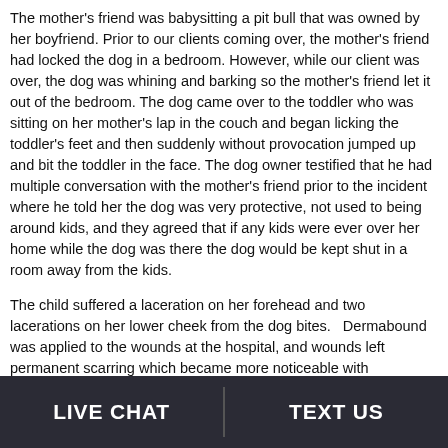The mother's friend was babysitting a pit bull that was owned by her boyfriend. Prior to our clients coming over, the mother's friend had locked the dog in a bedroom. However, while our client was over, the dog was whining and barking so the mother's friend let it out of the bedroom. The dog came over to the toddler who was sitting on her mother's lap in the couch and began licking the toddler's feet and then suddenly without provocation jumped up and bit the toddler in the face. The dog owner testified that he had multiple conversation with the mother's friend prior to the incident where he told her the dog was very protective, not used to being around kids, and they agreed that if any kids were ever over her home while the dog was there the dog would be kept shut in a room away from the kids.
The child suffered a laceration on her forehead and two lacerations on her lower cheek from the dog bites.   Dermabound was applied to the wounds at the hospital, and wounds left permanent scarring which became more noticeable with temperature change and emotion.
If a person is bitten while lawfully on the property or on public
LIVE CHAT   TEXT US